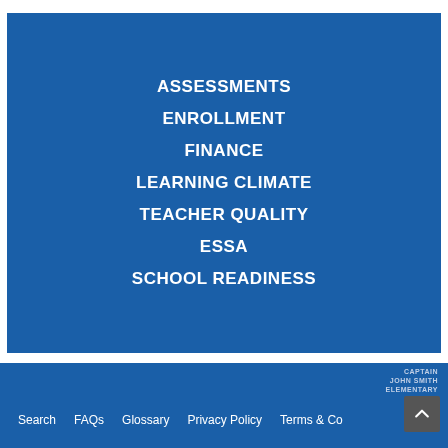ASSESSMENTS
ENROLLMENT
FINANCE
LEARNING CLIMATE
TEACHER QUALITY
ESSA
SCHOOL READINESS
CAPTAIN JOHN SMITH ELEMENTARY
Search   FAQs   Glossary   Privacy Policy   Terms & Conditions